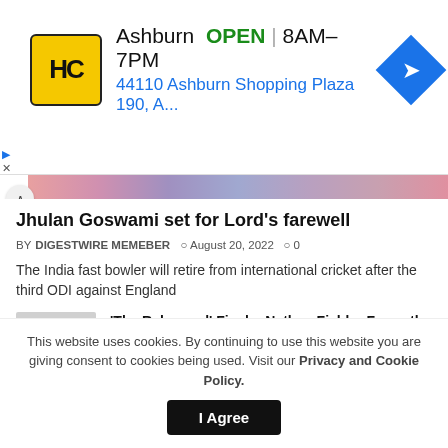[Figure (infographic): Advertisement banner for HC with logo, Ashburn OPEN 8AM-7PM, address 44110 Ashburn Shopping Plaza 190, A..., and navigation arrow icon]
[Figure (photo): Partial colorful image strip at top of article section with a chevron/up arrow button]
Jhulan Goswami set for Lord's farewell
BY DIGESTWIRE MEMEBER  August 20, 2022  0
The India fast bowler will retire from international cricket after the third ODI against England
[Figure (photo): Thumbnail image placeholder for The Rehearsal article]
'The Rehearsal' Finale: Nathan Fielder Faces the Consequences of His Fantasies
[Figure (photo): Thumbnail image placeholder for Maine locations article]
2 Maine locations among nation's hottest zip codes for homebuyers
This website uses cookies. By continuing to use this website you are giving consent to cookies being used. Visit our Privacy and Cookie Policy.